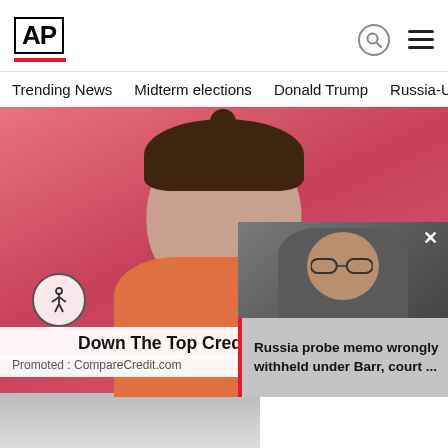AP
Trending News   Midterm elections   Donald Trump   Russia-Ukr
[Figure (photo): Woman holding a credit card in front of a pink background, with an ad overlay reading 'Down The Top Credit C' and source 'Promoted : CompareCredit.com']
[Figure (photo): Popup video overlay showing a man with glasses and the headline 'Russia probe memo wrongly withheld under Barr, court ...']
Russia probe memo wrongly withheld under Barr, court ...